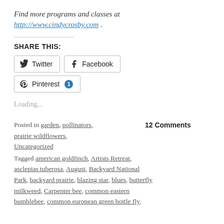Find more programs and classes at http://www.cindycrosby.com .
SHARE THIS:
[Figure (other): Social share buttons: Twitter, Facebook, Pinterest (with badge 1)]
Loading...
Posted in garden, pollinators, prairie wildflowers, Uncategorized   12 Comments
Tagged american goldfinch, Artists Retreat, asclepias tuberosa, August, Backyard National Park, backyard prairie, blazing star, blues, butterfly milkweed, Carpenter bee, common eastern bumblebee, common european green bottle fly,